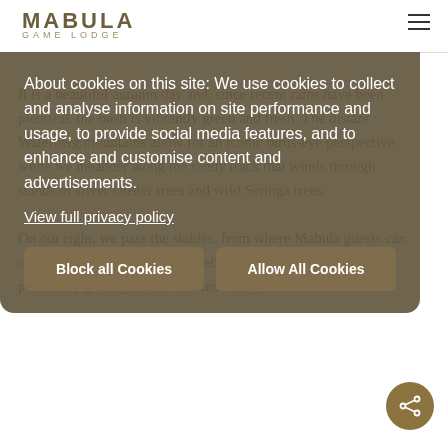MABULA | GAME LODGE
It is a beautiful autumn day and, since recent rains have been plentiful, the bush is vibrantly green and fresh. The distant Waterberg mountains allow for an iconic birds-eye perspective while we meander along the sandy track that winds through stands of silver cluster trees and wild Seringa trees.
On our right, we pass the stables, from where Mabula guests can opt to explore the bush on horseback. A couple of zebra are peacefully grazing a short distance away
About cookies on this site: We use cookies to collect and analyse information on site performance and usage, to provide social media features, and to enhance and customise content and advertisements.
View full privacy policy
Block all Cookies | Allow All Cookies